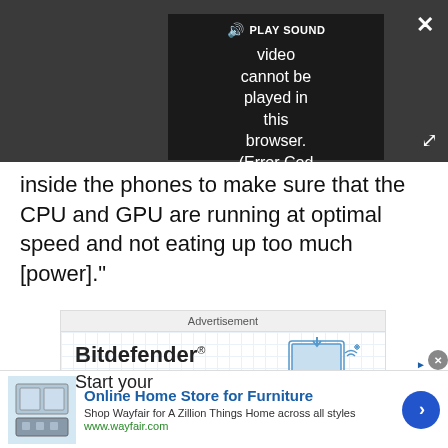[Figure (screenshot): Video player UI on dark background showing 'PLAY SOUND' bar and error message: 'Video cannot be played in this browser. (Error Cod' with close X button and expand button]
inside the phones to make sure that the CPU and GPU are running at optimal speed and not eating up too much [power]."
[Figure (screenshot): Bitdefender advertisement with grid background, laptop illustration, 'Back To School' stylized text, and 'Start your' text. Labeled 'Advertisement' at top.]
[Figure (screenshot): Bottom banner ad: 'Online Home Store for Furniture' - Shop Wayfair for A Zillion Things Home across all styles. www.wayfair.com. Blue arrow button on right.]